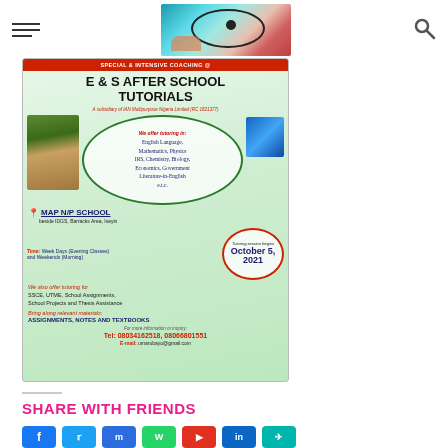Navigation header with hamburger menu, logo image, and search icon
[Figure (infographic): Advertisement for E & S After School Tutorials. Special & Intensive Coaching. Offers tutoring in English Language, Mathematics, Physics, IRS, Chemistry, Biology, Economics, Government, Literature-in-English, etc. Location: MAP N/P SCHOOL, beside IDGS, Barracks Area, Iseyin. Time: Week Days (Evening Classes) and Weekends (Morning). Training session begins October 5, 2021. Also offers tutoring for SSCE, UTME, School Assignments, School Projects and Thesis Assistance. Bring along relevant materials: ASSIGNMENTS, NOTES AND TEXTBOOKS. Tel: 08034162518, 08066801551. E-mail: umarubayo@gmail.com]
SHARE WITH FRIENDS
Social share buttons: Facebook, Twitter, Messenger, WhatsApp, YouTube/Reddit, LinkedIn, Telegram